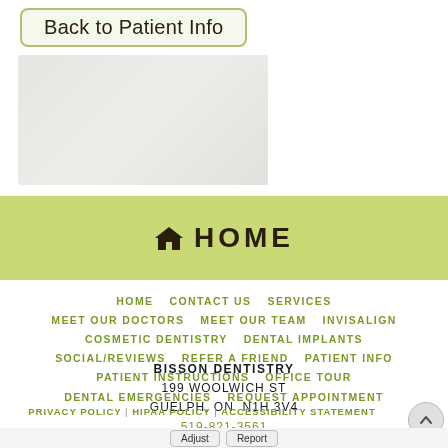Back to Patient Info
[Figure (photo): Background photo of dental office or patient, faded]
HOME
HOME  CONTACT US  SERVICES  MEET OUR DOCTORS  MEET OUR TEAM  INVISALIGN  COSMETIC DENTISTRY  DENTAL IMPLANTS  SOCIAL/REVIEWS  REFER A FRIEND  PATIENT INFO  PATIENT INSTRUCTIONS  OFFICE TOUR  DENTAL EMERGENCIES  REQUEST APPOINTMENT
BISSON DENTISTRY
199 WOOLWICH ST
GUELPH, ON  N1H 3V4
519-821-3561
PRIVACY POLICY | HIPAA POLICY | ACCESSIBILITY STATEMENT